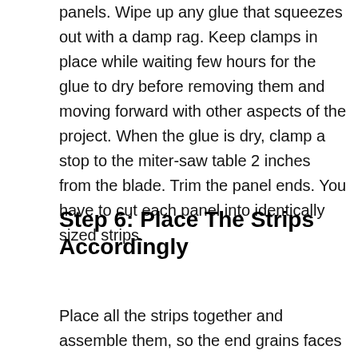panels. Wipe up any glue that squeezes out with a damp rag. Keep clamps in place while waiting few hours for the glue to dry before removing them and moving forward with other aspects of the project. When the glue is dry, clamp a stop to the miter-saw table 2 inches from the blade. Trim the panel ends. You have to cut each panel into identically sized strips.
Step 6: Place The Strips Accordingly
Place all the strips together and assemble them, so the end grains faces up. Shift each one sideways so that the glue joints in each strip are offset from